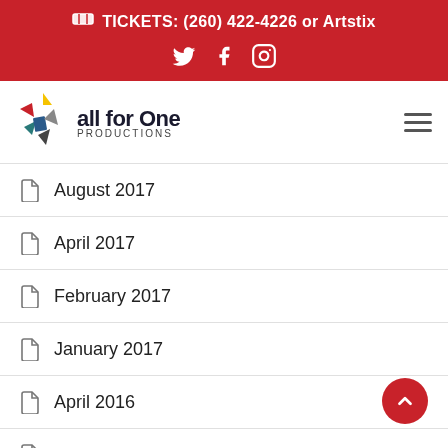🎫 TICKETS: (260) 422-4226 or Artstix
Twitter Facebook Instagram
[Figure (logo): All for One Productions logo with colorful abstract cross/plus shape]
August 2017
April 2017
February 2017
January 2017
April 2016
March 2016
February 2016